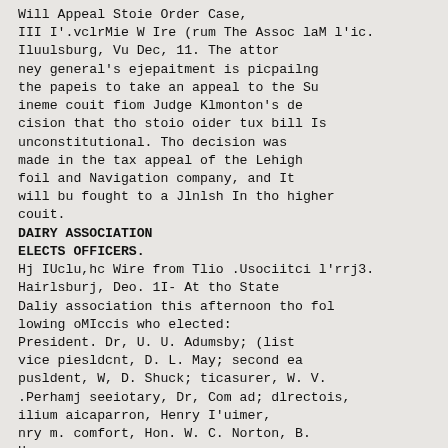Will Appeal Stoie Order Case, III I'.vclrMie W Ire (rum The Assoc laM l'ic. Iluulsburg, Vu Dec, 11. The attor ney general's ejepaitment is picpailng the papeis to take an appeal to the Su ineme couit fiom Judge Klmonton's de cision that tho stoio oider tux bill Is unconstitutional. Tho decision was made in the tax appeal of the Lehigh foil and Navigation company, and It will bu fought to a Jlnlsh In tho higher couit.
DAIRY ASSOCIATION ELECTS OFFICERS.
Hj IUclu,hc Wire from Tlio .Usociitci l'rrj3. Hairlsburj, Deo. 1I- At tho State Daliy association this afternoon tho fol lowing oMIccis who elected: President. Dr, U. U. Adumsby; (list vice piesldcnt, D. L. May; second ea pusldent, W, D. Shuck; ticasurer, W. V. .Perhamj seeiotary, Dr, Com ad; dlrectois, ilium aicaparron, Henry I'uimer, nry m. comfort, Hon. W. C. Norton, B. H...